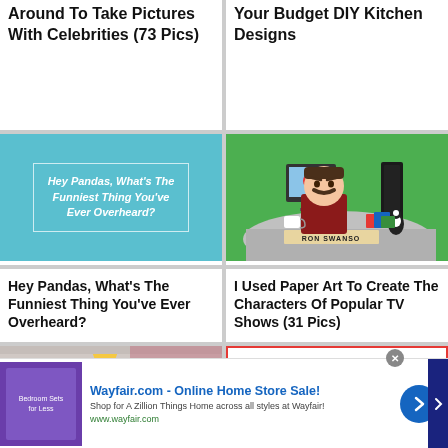Around To Take Pictures With Celebrities (73 Pics)
Your Budget DIY Kitchen Designs
[Figure (illustration): Teal/cyan background tile with white italic text: Hey Pandas, What's The Funniest Thing You've Ever Overheard?]
[Figure (illustration): Paper art depiction of Ron Swanson character at desk, green background, nameplate reading RON SWANSO[N]]
Hey Pandas, What's The Funniest Thing You've Ever Overheard?
I Used Paper Art To Create The Characters Of Popular TV Shows (31 Pics)
[Figure (photo): Partial photo of interior room with yellow lamp visible]
[Figure (illustration): Partial card with red border visible]
Wayfair.com - Online Home Store Sale! Shop for A Zillion Things Home across all styles at Wayfair! www.wayfair.com